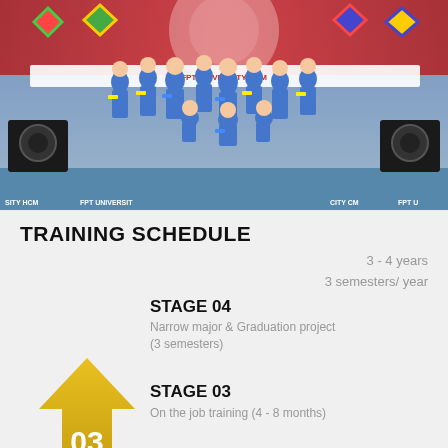[Figure (photo): Group photo of students in blue martial arts uniforms performing on a stage decorated with colorful diamond-shaped flags and red banners. Speakers visible on stage sides. FPT University branding visible.]
TRAINING SCHEDULE
3 - 4 years
3 semesters/ year
STAGE 04
Narrow major & Graduation project
(3 semesters)
[Figure (infographic): Golden upward arrow with number 03 inside]
STAGE 03
On the job training (4 - 8 months)
STAGE 2